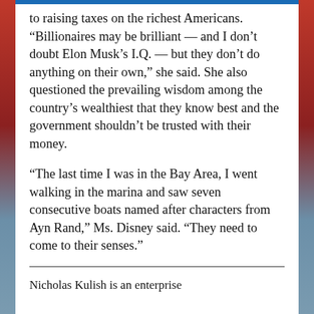to raising taxes on the richest Americans. “Billionaires may be brilliant — and I don’t doubt Elon Musk’s I.Q. — but they don’t do anything on their own,” she said. She also questioned the prevailing wisdom among the country’s wealthiest that they know best and the government shouldn’t be trusted with their money.
“The last time I was in the Bay Area, I went walking in the marina and saw seven consecutive boats named after characters from Ayn Rand,” Ms. Disney said. “They need to come to their senses.”
Nicholas Kulish is an enterprise